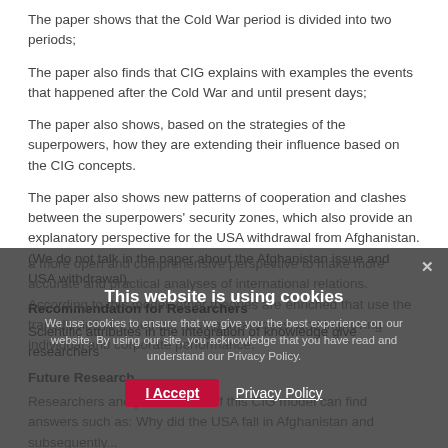The paper shows that the Cold War period is divided into two periods;
The paper also finds that CIG explains with examples the events that happened after the Cold War and until present days;
The paper also shows, based on the strategies of the superpowers, how they are extending their influence based on the CIG concepts.
The paper also shows new patterns of cooperation and clashes between the superpowers' security zones, which also provide an explanatory perspective for the USA withdrawal from Afghanistan. (We do not talk in the paper about the Afghanistan issue and USA withdrawal).
Recommendation for Researchers
Scientific attributes in the integration of knowledge give researchers a more open and comprehensive perspective to make more accurate and practical analyses of international relations. According to this model, other theories are enriched that use the transdisciplinary method, raising awareness, and improving individual and corporate performance.
Future Research
Researchers and practitioners of this CIG model can find answers such as: Why did the USA fall in Afghanistan and subsequently...